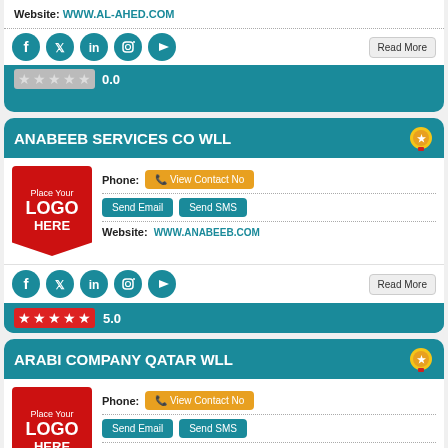Website: WWW.AL-AHED.COM
[Figure (other): Social media icons row (Facebook, Twitter, LinkedIn, Instagram, YouTube) and Read More button]
0.0 rating (5 empty stars)
ANABEEB SERVICES CO WLL
[Figure (logo): Place Your LOGO HERE placeholder (red chevron shape)]
Phone: View Contact No
Send Email | Send SMS
Website: WWW.ANABEEB.COM
[Figure (other): Social media icons row (Facebook, Twitter, LinkedIn, Instagram, YouTube) and Read More button]
5.0 rating (5 filled stars)
ARABI COMPANY QATAR WLL
[Figure (logo): Place Your LOGO HERE placeholder (red chevron shape)]
Phone: View Contact No
Send Email | Send SMS
Website: WWW.ARABIQATAR.COM